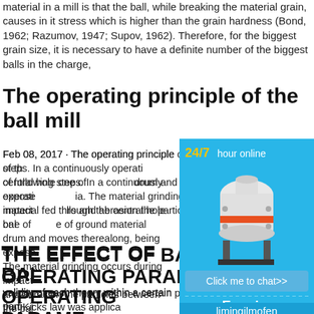material in a mill is that the ball, while breaking the material grain, causes in it stress which is higher than the grain hardness (Bond, 1962; Razumov, 1947; Supov, 1962). Therefore, for the biggest grain size, it is necessary to have a definite number of the biggest balls in the charge,
The operating principle of the ball mill
Feb 08, 2017 · The operating principle of the ball mill consists of following steps. In a continuously operating ball mill, feed material fed through the central hole one of the caps into the drum and moves therealong, being exposed to grinding media. The material grinding occurs during impact falling balls and abrasion the particles between the balls. Then, discharge of ground material
THE EFFECT OF BALL MILL OPERATING PARAMETERS
validity of each theory within a certain particle size range. This study illustrated that Kicks law was applicable…